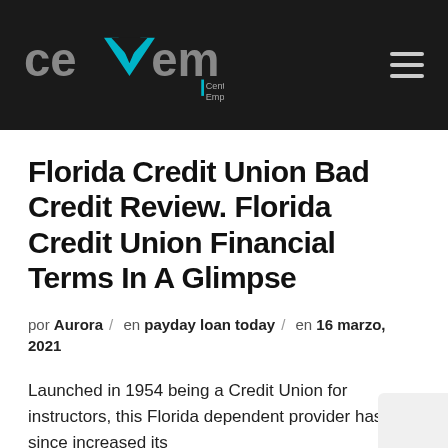[Figure (logo): cevem logo — Centro de Valor Empresarial de México — white/teal text on dark background with hamburger menu icon]
Florida Credit Union Bad Credit Review. Florida Credit Union Financial Terms In A Glimpse
por Aurora / en payday loan today / en 16 marzo, 2021
Launched in 1954 being a Credit Union for instructors, this Florida dependent provider has since increased its